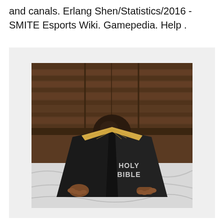and canals. Erlang Shen/Statistics/2016 - SMITE Esports Wiki. Gamepedia. Help .
[Figure (photo): A child holding an open black Holy Bible in front of their face while lying on a bed with white sheets. A dark wooden headboard is visible in the background.]